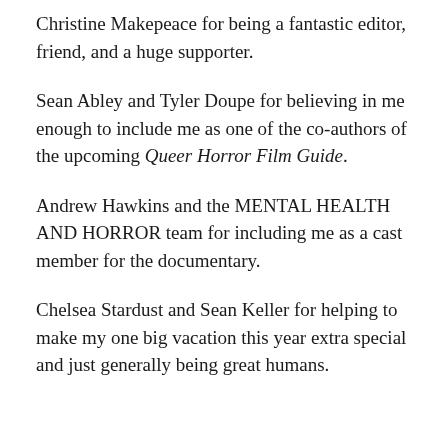Christine Makepeace for being a fantastic editor, friend, and a huge supporter.
Sean Abley and Tyler Doupe for believing in me enough to include me as one of the co-authors of the upcoming Queer Horror Film Guide.
Andrew Hawkins and the MENTAL HEALTH AND HORROR team for including me as a cast member for the documentary.
Chelsea Stardust and Sean Keller for helping to make my one big vacation this year extra special and just generally being great humans.